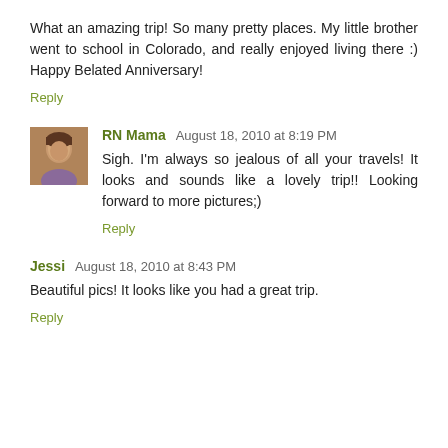What an amazing trip! So many pretty places. My little brother went to school in Colorado, and really enjoyed living there :) Happy Belated Anniversary!
Reply
RN Mama  August 18, 2010 at 8:19 PM
Sigh. I'm always so jealous of all your travels! It looks and sounds like a lovely trip!! Looking forward to more pictures;)
Reply
Jessi  August 18, 2010 at 8:43 PM
Beautiful pics! It looks like you had a great trip.
Reply